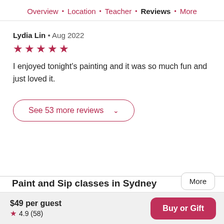Overview · Location · Teacher · Reviews · More
Lydia Lin • Aug 2022
★★★★★
I enjoyed tonight's painting and it was so much fun and just loved it.
See 53 more reviews
Paint and Sip classes in Sydney
$49 per guest
★ 4.9 (58)
Buy or Gift